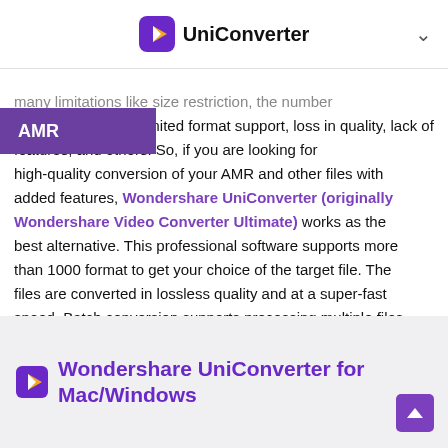UniConverter
many limitations like size restriction, the number of limited format support, loss in quality, lack of features, and others. So, if you are looking for high-quality conversion of your AMR and other files with added features, Wondershare UniConverter (originally Wondershare Video Converter Ultimate) works as the best alternative. This professional software supports more than 1000 format to get your choice of the target file. The files are converted in lossless quality and at a super-fast speed. Batch conversion supports processing multiple files at a time.
Wondershare UniConverter for Mac/Windows